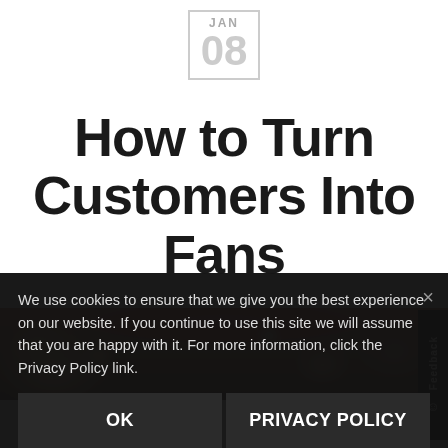JAN 08
How to Turn Customers Into Fans
[Figure (photo): Crowd at a sports stadium, people wearing baseball caps, grandstand visible in background with red and white colors]
We use cookies to ensure that we give you the best experience on our website. If you continue to use this site we will assume that you are happy with it. For more information, click the Privacy Policy link.
OK
PRIVACY POLICY